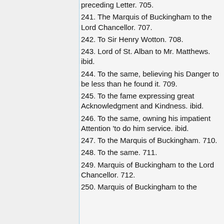preceding Letter. 705.
241. The Marquis of Buckingham to the Lord Chancellor. 707.
242. To Sir Henry Wotton. 708.
243. Lord of St. Alban to Mr. Matthews. ibid.
244. To the same, believing his Danger to be less than he found it. 709.
245. To the fame expressing great Acknowledgment and Kindness. ibid.
246. To the same, owning his impatient Attention 'to do him service. ibid.
247. To the Marquis of Buckingham. 710.
248. To the same. 711.
249. Marquis of Buckingham to the Lord Chancellor. 712.
250. Marquis of Buckingham to the